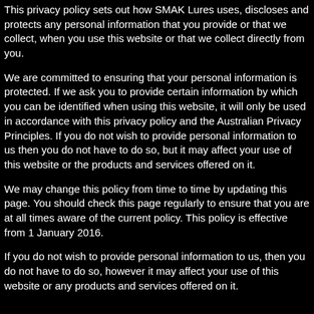This privacy policy sets out how SMAK Lures uses, discloses and protects any personal information that you provide or that we collect, when you use this website or that we collect directly from you.
We are committed to ensuring that your personal information is protected. If we ask you to provide certain information by which you can be identified when using this website, it will only be used in accordance with this privacy policy and the Australian Privacy Principles. If you do not wish to provide personal information to us then you do not have to do so, but it may affect your use of this website or the products and services offered on it.
We may change this policy from time to time by updating this page. You should check this page regularly to ensure that you are at all times aware of the current policy. This policy is effective from 1 January 2016.
If you do not wish to provide personal information to us, then you do not have to do so, however it may affect your use of this website or any products and services offered on it.